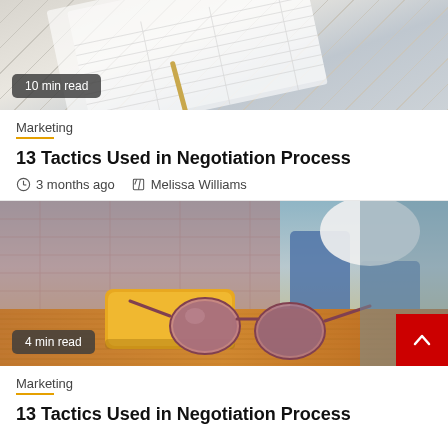[Figure (photo): Top portion of a photo showing planners/calendars with a pen on a desk, with a '10 min read' badge overlay]
Marketing
13 Tactics Used in Negotiation Process
3 months ago   Melissa Williams
[Figure (photo): Photo of pink sunglasses and yellow case on a wooden surface, person sitting in background, with a '4 min read' badge overlay]
Marketing
13 Tactics Used in Negotiation Process